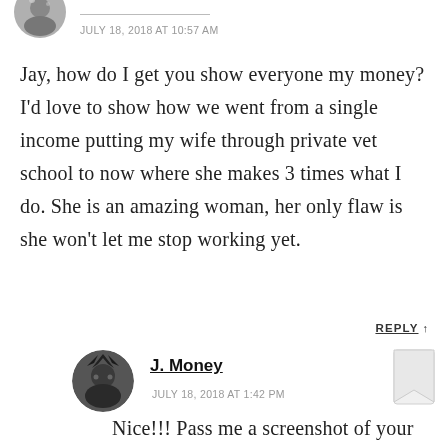[Figure (photo): Circular avatar photo of commenter at top left, partially visible]
JULY 18, 2018 AT 10:57 AM
Jay, how do I get you show everyone my money? I'd love to show how we went from a single income putting my wife through private vet school to now where she makes 3 times what I do. She is an amazing woman, her only flaw is she won't let me stop working yet.
REPLY ↑
[Figure (photo): Circular avatar photo of J. Money commenter]
J. Money
JULY 18, 2018 AT 1:42 PM
Nice!!! Pass me a screenshot of your net worth or spreadsheet or whatever you have, and then